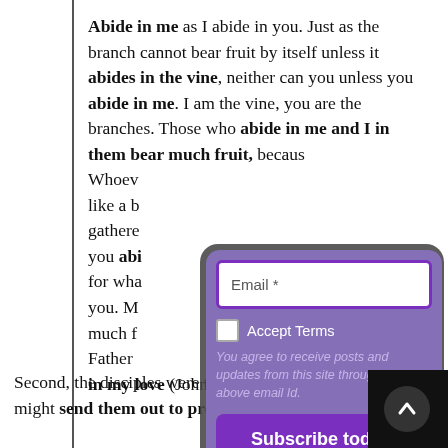Abide in me as I abide in you. Just as the branch cannot bear fruit by itself unless it abides in the vine, neither can you unless you abide in me. I am the vine, you are the branches. Those who abide in me and I in them bear much fruit, because... Whoever... like a branch... gathered... you abi... for what... you. My... much fr... Father... in my love (John 15: 4-9).
[Figure (screenshot): Email subscription popup modal with purple background, email input field with purple border, Accept Terms checkbox, agreement text, and Subscribe today! button]
Second, the disciples were to be prepared so that Jesus might send them out to proclaim or preach the